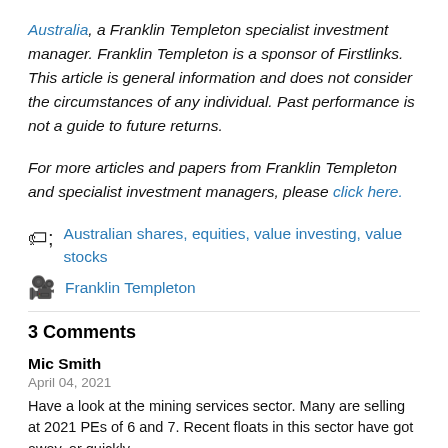Australia, a Franklin Templeton specialist investment manager. Franklin Templeton is a sponsor of Firstlinks. This article is general information and does not consider the circumstances of any individual. Past performance is not a guide to future returns.
For more articles and papers from Franklin Templeton and specialist investment managers, please click here.
Australian shares, equities, value investing, value stocks
Franklin Templeton
3 Comments
Mic Smith
April 04, 2021
Have a look at the mining services sector. Many are selling at 2021 PEs of 6 and 7. Recent floats in this sector have got away, or quickly...